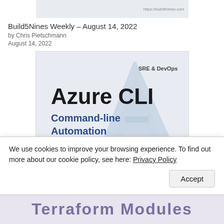[Figure (screenshot): Thumbnail image of Build5Nines Weekly August 14 2022 article with https://build5nines.com watermark on light blue/grey background]
Build5Nines Weekly – August 14, 2022
by Chris Pietschmann
August 14, 2022
[Figure (screenshot): Thumbnail image showing 'Azure CLI Command-line Automation' text with large A logo in blue/grey, labeled SRE & DevOps. https://build5nines.com watermark at bottom.]
Azure CLI: Call Azure REST API Directly
by Chris Pietschmann
We use cookies to improve your browsing experience. To find out more about our cookie policy, see here: Privacy Policy
Accept
[Figure (screenshot): Partial bottom strip showing large bold purple/mauve text partially cut off, likely 'Terraform Modules']